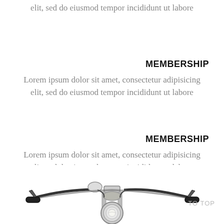elit, sed do eiusmod tempor incididunt ut labore
MEMBERSHIP
Lorem ipsum dolor sit amet, consectetur adipisicing elit, sed do eiusmod tempor incididunt ut labore
MEMBERSHIP
Lorem ipsum dolor sit amet, consectetur adipisicing elit, sed do eiusmod tempor incididunt ut labore
[Figure (photo): Front view of a classic motorcycle handlebar and headlight on white background]
TO TOP